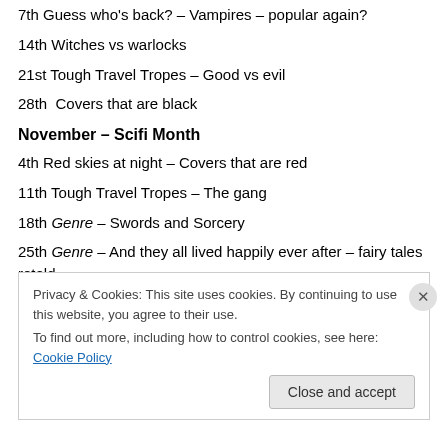7th Guess who's back? – Vampires – popular again?
14th Witches vs warlocks
21st Tough Travel Tropes – Good vs evil
28th  Covers that are black
November – Scifi Month
4th Red skies at night – Covers that are red
11th Tough Travel Tropes – The gang
18th Genre – Swords and Sorcery
25th Genre – And they all lived happily ever after – fairy tales retold
December
Privacy & Cookies: This site uses cookies. By continuing to use this website, you agree to their use. To find out more, including how to control cookies, see here: Cookie Policy